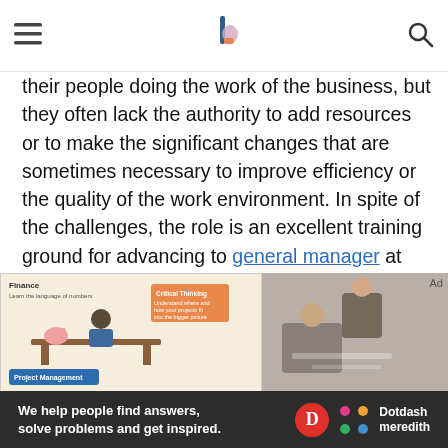[site header with hamburger menu, logo, and search icon]
their people doing the work of the business, but they often lack the authority to add resources or to make the significant changes that are sometimes necessary to improve efficiency or the quality of the work environment. In spite of the challenges, the role is an excellent training ground for advancing to general manager at some point in the future.
[Figure (other): Social sharing buttons: Facebook, Twitter, LinkedIn, Email — dark teal circular icons]
[Figure (illustration): Left: illustrated infographic about management skills (Finance, Critical Thinking, Project Management). Right: photo of two people looking at documents.]
We help people find answers, solve problems and get inspired. Dotdash meredith